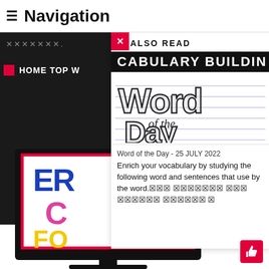≡ Navigation
✕✕✕✕✕✕✕.
HOME TOP W
ALSO READ
[Figure (illustration): VOCABULARY BUILDING banner text in bold uppercase on black background, partially clipped]
[Figure (illustration): Hand-drawn style 'Word of the Day' lettering on lined paper background]
Word of the Day - 25 JULY 2022
Enrich your vocabulary by studying the following word and sentences that use by the word.
[Figure (illustration): Computer monitor displaying colorful text: ER, C, FO in blue, pink/magenta, yellow colors]